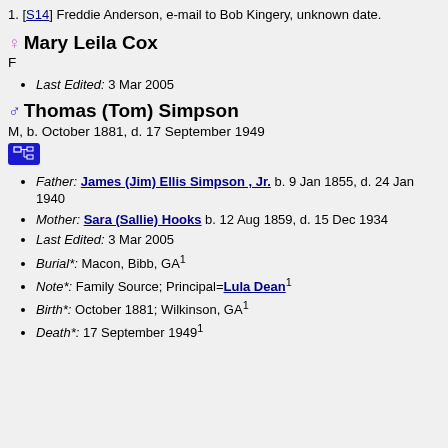1. [S14] Freddie Anderson, e-mail to Bob Kingery, unknown date.
Mary Leila Cox
F
Last Edited: 3 Mar 2005
Thomas (Tom) Simpson
M, b. October 1881, d. 17 September 1949
Father: James (Jim) Ellis Simpson , Jr. b. 9 Jan 1855, d. 24 Jan 1940
Mother: Sara (Sallie) Hooks b. 12 Aug 1859, d. 15 Dec 1934
Last Edited: 3 Mar 2005
Burial*: Macon, Bibb, GA1
Note*: Family Source; Principal=Lula Dean1
Birth*: October 1881; Wilkinson, GA1
Death*: 17 September 19491